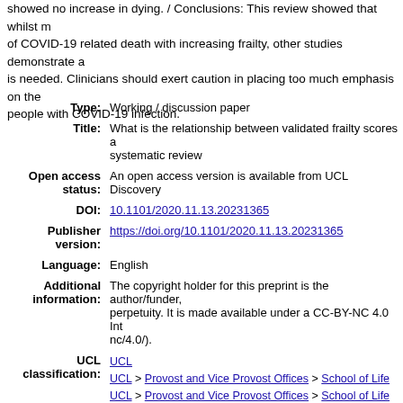showed no increase in dying. / Conclusions: This review showed that whilst many studies found an association of COVID-19 related death with increasing frailty, other studies demonstrate a reverse pattern. More research is needed. Clinicians should exert caution in placing too much emphasis on the frailty score when treating people with COVID-19 infection.
| Field | Value |
| --- | --- |
| Type: | Working / discussion paper |
| Title: | What is the relationship between validated frailty scores a... systematic review |
| Open access status: | An open access version is available from UCL Discovery |
| DOI: | 10.1101/2020.11.13.20231365 |
| Publisher version: | https://doi.org/10.1101/2020.11.13.20231365 |
| Language: | English |
| Additional information: | The copyright holder for this preprint is the author/funder, who has granted medRxiv a license to display the preprint in perpetuity. It is made available under a CC-BY-NC 4.0 Int... nc/4.0/). |
| UCL classification: | UCL
UCL > Provost and Vice Provost Offices > School of Life ...
UCL > Provost and Vice Provost Offices > School of Life ...
UCL > Provost and Vice Provost Offices > School of Life ... Institute of Cardiovascular Science
UCL > Provost and Vice Provost Offices > School of Life ... Institute of Cardiovascular Science > Population Science ...
UCL > Provost and Vice Provost Offices > School of Life ... Institute of Cardiovascular Science > Population Science ... Ageing |